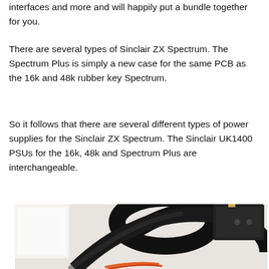interfaces and more and will happily put a bundle together for you.
There are several types of Sinclair ZX Spectrum. The Spectrum Plus is simply a new case for the same PCB as the 16k and 48k rubber key Spectrum.
So it follows that there are several different types of power supplies for the Sinclair ZX Spectrum. The Sinclair UK1400 PSUs for the 16k, 48k and Spectrum Plus are interchangeable.
[Figure (photo): Photo of a Sinclair ZX Spectrum power supply unit (PSU) with black cables and a UK plug, shown against a light background.]